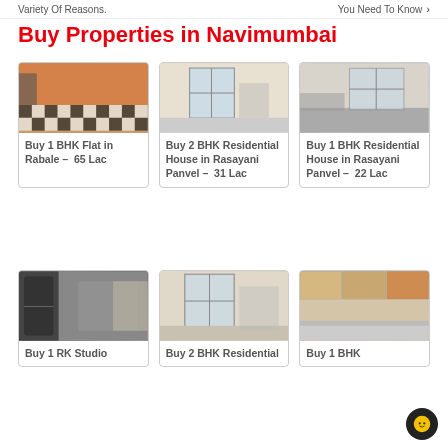Variety Of Reasons. | You Need To Know →
Buy Properties in Navimumbai
[Figure (photo): Interior room with checkered black and white tile floor]
Buy 1 BHK Flat in Rabale - 65 Lac
[Figure (photo): Empty room with large windows letting in light]
Buy 2 BHK Residential House in Rasayani Panvel - 31 Lac
[Figure (photo): Empty room with counter and windows]
Buy 1 BHK Residential House in Rasayani Panvel - 22 Lac
[Figure (photo): Dark kitchen interior with refrigerator]
Buy 1 RK Studio
[Figure (photo): Room with windows]
Buy 2 BHK Residential
[Figure (photo): Kitchen with cabinets]
Buy 1 BHK